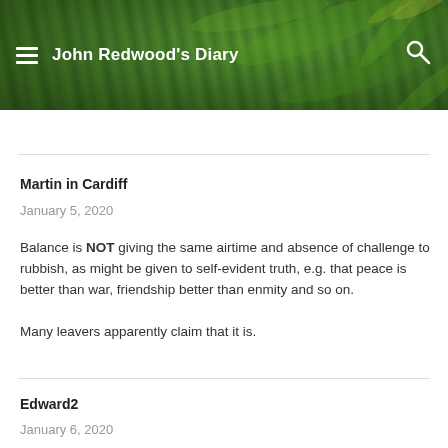John Redwood's Diary
Martin in Cardiff
January 5, 2020
Balance is NOT giving the same airtime and absence of challenge to rubbish, as might be given to self-evident truth, e.g. that peace is better than war, friendship better than enmity and so on.

Many leavers apparently claim that it is.
Edward2
January 6, 2020